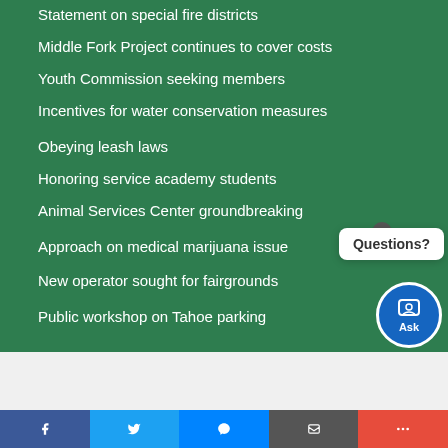Statement on special fire districts
Middle Fork Project continues to cover costs
Youth Commission seeking members
Incentives for water conservation measures
Obeying leash laws
Honoring service academy students
Animal Services Center groundbreaking
Approach on medical marijuana issue
New operator sought for fairgrounds
Public workshop on Tahoe parking
[Figure (screenshot): Questions? chat bubble popup with close button and Ask button]
Select Language
[Figure (screenshot): Social share bar with Facebook, Twitter, Messenger, Email, and More buttons]